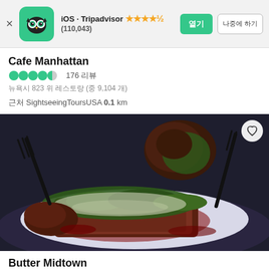iOS · Tripadvisor ★★★★½ (110,043)
Cafe Manhattan
●●●●◐ 176 리뷰
뉴욕시 823 위 레스토랑 (중 9,104 개)
근처 SightseeingToursUSA 0.1 km
[Figure (photo): Close-up photo of a plated meat dish with vegetables and sauce on a white plate, fork visible]
Butter Midtown